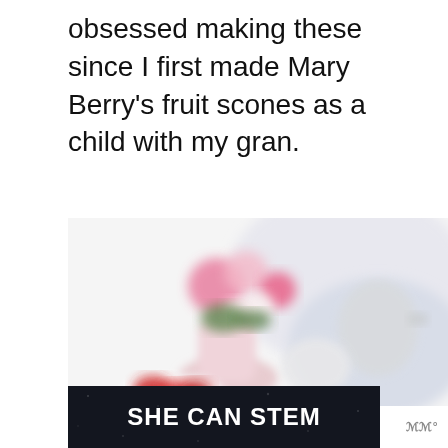obsessed making these since I first made Mary Berry's fruit scones as a child with my gran.
[Figure (photo): Blurred lifestyle photo of a floral arrangement in a pink vase, tea service with white teapot and cups, and a bowl of strawberries on a white table. Overlaid with a heart/like button (blue circle), a share button (grey circle), and a 'What's Next' card showing 'Hot Cross Bun Dessert'.]
[Figure (screenshot): Dark banner advertisement with white bold text reading 'SHE CAN STEM' and a small logo on the right side.]